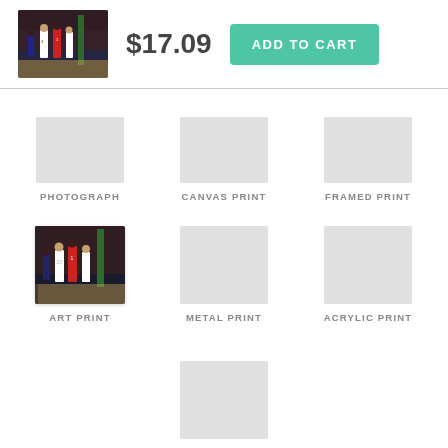[Figure (photo): Basketball game photo thumbnail in header]
$17.09
ADD TO CART
PHOTOGRAPH
CANVAS PRINT
FRAMED PRINT
[Figure (photo): Basketball game photo - Art Print product thumbnail]
ART PRINT
METAL PRINT
ACRYLIC PRINT
WOOD PRINT